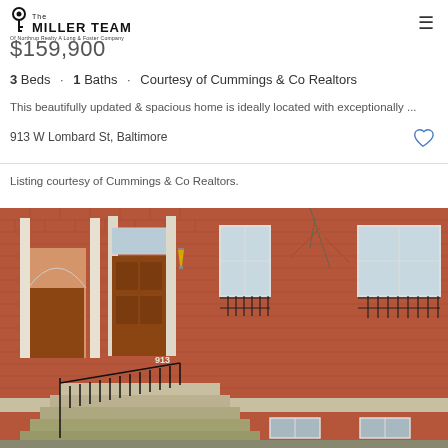[Figure (logo): The Miller Team logo with key icon, Of Northrup Realty A Long & Foster Company]
$159,900
3 Beds · 1 Baths · Courtesy of Cummings & Co Realtors
This beautifully updated & spacious home is ideally located with exceptionally ...
913 W Lombard St, Baltimore
Listing courtesy of Cummings & Co Realtors.
[Figure (photo): Exterior photo of a red brick Baltimore rowhouse with brown wooden front door, wrought iron railings, stone steps, wall-mounted lantern light, and barred windows]